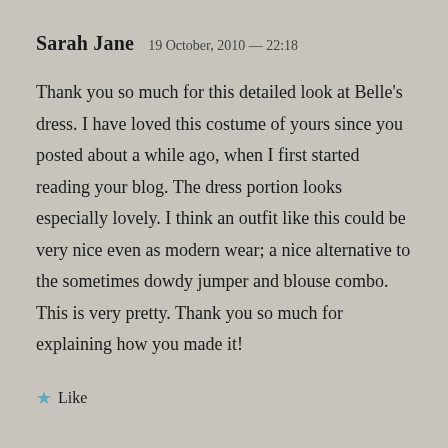Sarah Jane   19 October, 2010 — 22:18
Thank you so much for this detailed look at Belle's dress. I have loved this costume of yours since you posted about a while ago, when I first started reading your blog. The dress portion looks especially lovely. I think an outfit like this could be very nice even as modern wear; a nice alternative to the sometimes dowdy jumper and blouse combo. This is very pretty. Thank you so much for explaining how you made it!
★ Like